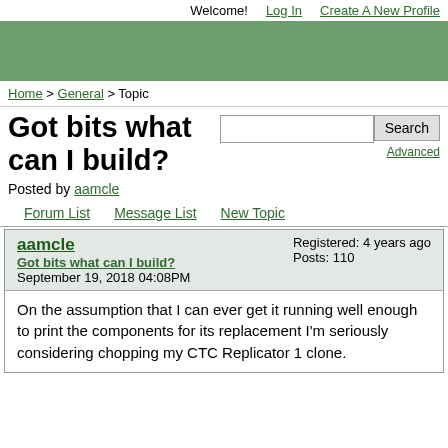Welcome!  Log In  Create A New Profile
[Figure (other): Green banner header area]
Home > General > Topic
Got bits what can I build?
Posted by aamcle
Forum List  Message List  New Topic
aamcle
Got bits what can I build?
September 19, 2018 04:08PM
Registered: 4 years ago
Posts: 110
On the assumption that I can ever get it running well enough to print the components for its replacement I'm seriously considering chopping my CTC Replicator 1 clone.